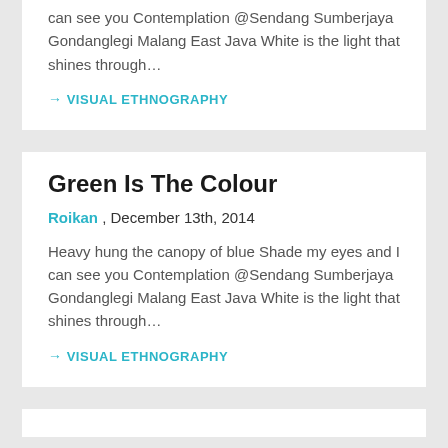can see you Contemplation @Sendang Sumberjaya Gondanglegi Malang East Java White is the light that shines through…
→ VISUAL ETHNOGRAPHY
Green Is The Colour
Roikan , December 13th, 2014
Heavy hung the canopy of blue Shade my eyes and I can see you Contemplation @Sendang Sumberjaya Gondanglegi Malang East Java White is the light that shines through…
→ VISUAL ETHNOGRAPHY
A partial title visible at bottom